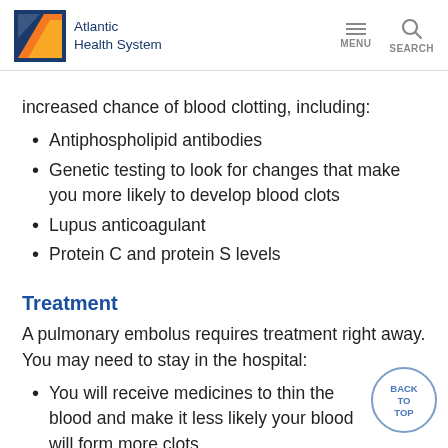Atlantic Health System | MENU SEARCH
increased chance of blood clotting, including:
Antiphospholipid antibodies
Genetic testing to look for changes that make you more likely to develop blood clots
Lupus anticoagulant
Protein C and protein S levels
Treatment
A pulmonary embolus requires treatment right away. You may need to stay in the hospital:
You will receive medicines to thin the blood and make it less likely your blood will form more clots.
In cases of severe, life-threatening pulmonary embolism, treatment may involve dissolving the